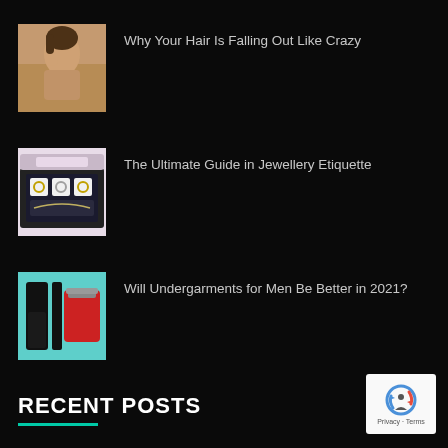[Figure (photo): Person washing hair in shower/bath, warm tones]
Why Your Hair Is Falling Out Like Crazy
[Figure (photo): Jewellery box with rings and necklaces displayed]
The Ultimate Guide in Jewellery Etiquette
[Figure (photo): Men's undergarments - black pants and red shorts on teal background]
Will Undergarments for Men Be Better in 2021?
RECENT POSTS
[Figure (logo): reCAPTCHA badge with Privacy and Terms links]